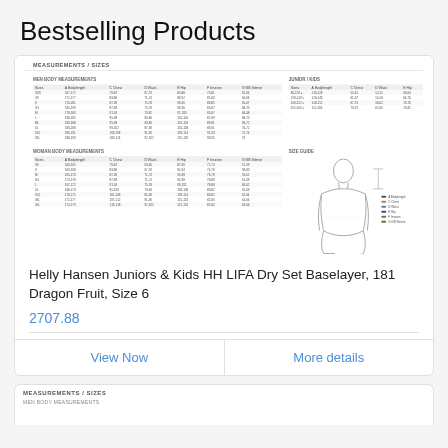Bestselling Products
[Figure (table-as-image): Measurements/Sizes chart showing Men's Body Measurements, Woman Body Measurements, Junior/Kids measurements table, and a size guide body figure diagram]
Helly Hansen Juniors & Kids HH LIFA Dry Set Baselayer, 181 Dragon Fruit, Size 6
2707.88
View Now
More details
[Figure (table-as-image): Measurements/Sizes chart (partial, bottom of page)]